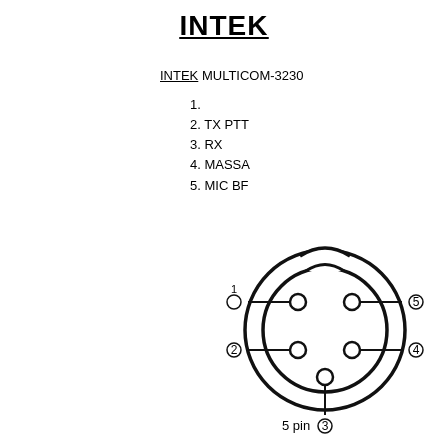INTEK
INTEK MULTICOM-3230
1.
2. TX PTT
3. RX
4. MASSA
5. MIC BF
[Figure (engineering-diagram): 5-pin DIN connector diagram showing pins 1-5 arranged in a circle with a notch at top. Pin 1 upper-left, Pin 2 lower-left, Pin 3 bottom with label '5 pin', Pin 4 lower-right, Pin 5 upper-right.]